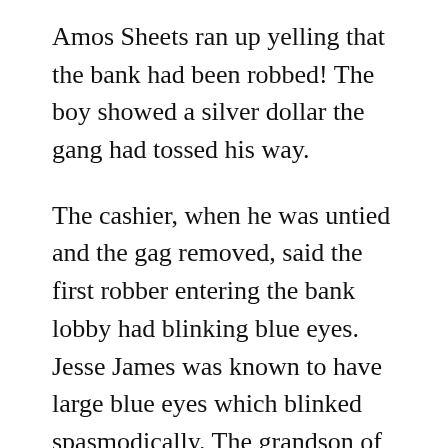Amos Sheets ran up yelling that the bank had been robbed! The boy showed a silver dollar the gang had tossed his way.
The cashier, when he was untied and the gag removed, said the first robber entering the bank lobby had blinking blue eyes. Jesse James was known to have large blue eyes which blinked spasmodically. The grandson of Henry Clay Dean, Dean Davis, was certain that the man who interrupted the gathering in front of the church was Frank James.
Despite the lead the outlaws had, a posse chased them into Missouri and at one point exchanged gunshots with the largest of the